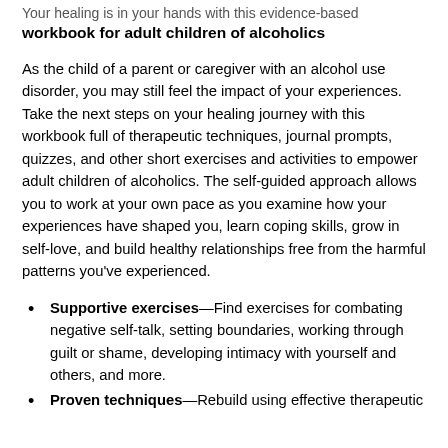Your healing is in your hands with this evidence-based workbook for adult children of alcoholics
As the child of a parent or caregiver with an alcohol use disorder, you may still feel the impact of your experiences. Take the next steps on your healing journey with this workbook full of therapeutic techniques, journal prompts, quizzes, and other short exercises and activities to empower adult children of alcoholics. The self-guided approach allows you to work at your own pace as you examine how your experiences have shaped you, learn coping skills, grow in self-love, and build healthy relationships free from the harmful patterns you've experienced.
Supportive exercises—Find exercises for combating negative self-talk, setting boundaries, working through guilt or shame, developing intimacy with yourself and others, and more.
Proven techniques—Rebuild using effective therapeutic methods including cognitive behavioral therapy...